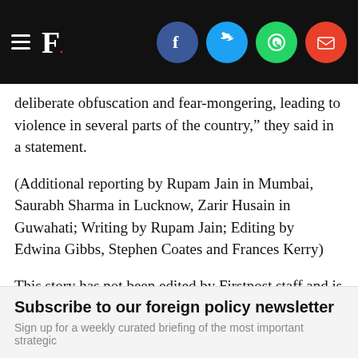F. [Firstpost logo with hamburger menu and social icons: Facebook, Twitter, WhatsApp, Email]
deliberate obfuscation and fear-mongering, leading to violence in several parts of the country,” they said in a statement.
(Additional reporting by Rupam Jain in Mumbai, Saurabh Sharma in Lucknow, Zarir Husain in Guwahati; Writing by Rupam Jain; Editing by Edwina Gibbs, Stephen Coates and Frances Kerry)
This story has not been edited by Firstpost staff and is generated by auto-feed.
Updated Date:  December 22, 2019 00:13:38 IST
TAGS: Reuters
Subscribe to our foreign policy newsletter
Sign up for a weekly curated briefing of the most important strategic